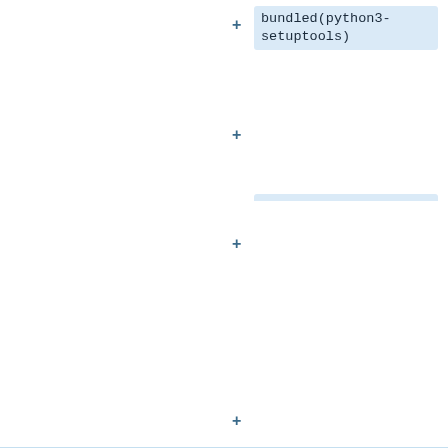bundled(python3-setuptools)
</td><td>
These are additional compat interpreters aimed only for testing code
</td></tr>
<tr><td>
Bundled in WebKitGTK+ (webkitgtk4 package)
</td><td>
bundled(angle)
</td><td>
ANGLE does not have a